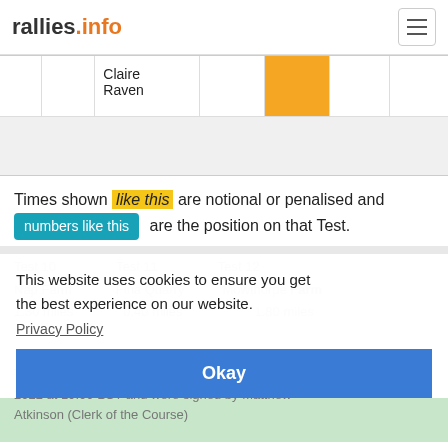rallies.info
|  |  | Claire Raven |  | [yellow] |  |  |
| [gray row] |
Times shown like this are notional or penalised and numbers like this are the position on that Test.
Test 10
Nap Farm
1.30 miles

Test 11
Fina Quarry
0.40 miles

Test 12
Mowthorpe Farm
1.80 miles
This website uses cookies to ensure you get the best experience on our website.
Privacy Policy
These results became final on Thursday 19th May 2022 at 19:00 BST and were signed by Matthew Atkinson (Clerk of the Course)